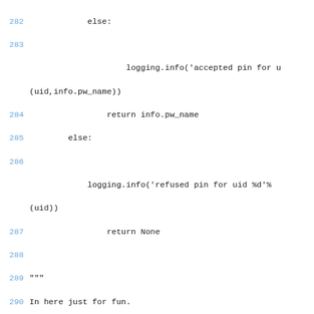Code listing lines 282-301 showing Python source code with logging, cookie function, and message selection logic